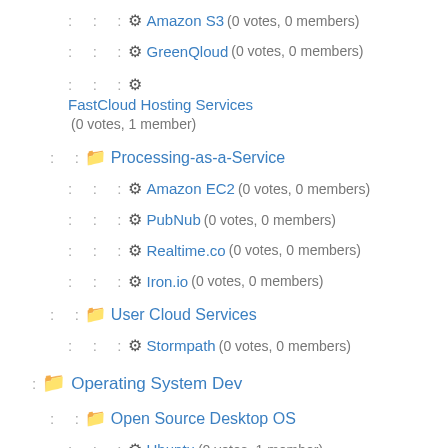Amazon S3 (0 votes, 0 members)
GreenQloud (0 votes, 0 members)
FastCloud Hosting Services (0 votes, 1 member)
Processing-as-a-Service
Amazon EC2 (0 votes, 0 members)
PubNub (0 votes, 0 members)
Realtime.co (0 votes, 0 members)
Iron.io (0 votes, 0 members)
User Cloud Services
Stormpath (0 votes, 0 members)
Operating System Dev
Open Source Desktop OS
Ubuntu (0 votes, 1 member)